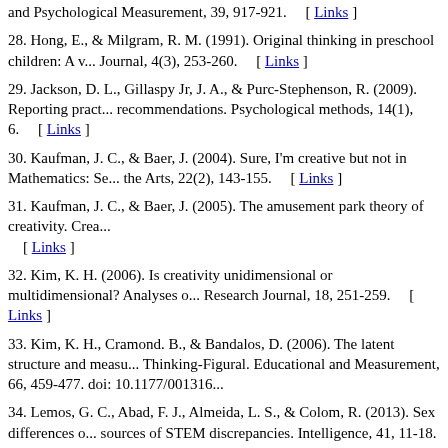and Psychological Measurement, 39, 917-921. [ Links ]
28. Hong, E., & Milgram, R. M. (1991). Original thinking in preschool children: A v... Journal, 4(3), 253-260. [ Links ]
29. Jackson, D. L., Gillaspy Jr, J. A., & Purc-Stephenson, R. (2009). Reporting pract... recommendations. Psychological methods, 14(1), 6. [ Links ]
30. Kaufman, J. C., & Baer, J. (2004). Sure, I'm creative but not in Mathematics: Se... the Arts, 22(2), 143-155. [ Links ]
31. Kaufman, J. C., & Baer, J. (2005). The amusement park theory of creativity. Crea... [ Links ]
32. Kim, K. H. (2006). Is creativity unidimensional or multidimensional? Analyses o... Research Journal, 18, 251-259. [ Links ]
33. Kim, K. H., Cramond. B., & Bandalos, D. (2006). The latent structure and measu... Thinking-Figural. Educational and Measurement, 66, 459-477. doi: 10.1177/001316...
34. Lemos, G. C., Abad, F. J., Almeida, L. S., & Colom, R. (2013). Sex differences o... sources of STEM discrepancies. Intelligence, 41, 11-18. doi: 10.1016/j.intell.2012.10...
35. Mcmann, G.M., & Barnett, D.W. (1994). Structural analysis of correlated factors... Wechsler scales. School Psychology Quarterly, 9, 161-197. [ Links ]
36. Michael, W. B., & Wright, C. R. (1989). Psychometric issues in the assessment o... (Eds.), Handbook of creativity (pp. 33-52). New York: Plenum Press. [ Links ]
37. Mohamed, A., Maker, C., & Lubart, T. (2012). Exploring the Domain Specificity...